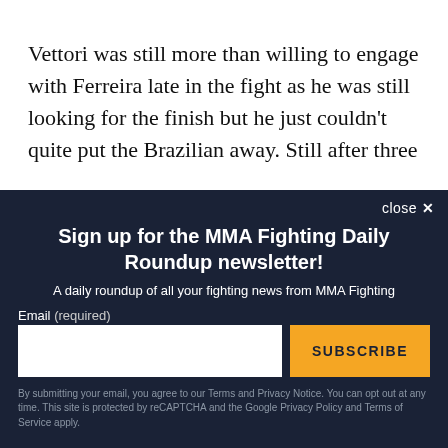Vettori was still more than willing to engage with Ferreira late in the fight as he was still looking for the finish but he just couldn't quite put the Brazilian away. Still after three
close ×
Sign up for the MMA Fighting Daily Roundup newsletter!
A daily roundup of all your fighting news from MMA Fighting
Email (required)
SUBSCRIBE
By submitting your email, you agree to our Terms and Privacy Notice. You can opt out at any time. This site is protected by reCAPTCHA and the Google Privacy Policy and Terms of Service apply.